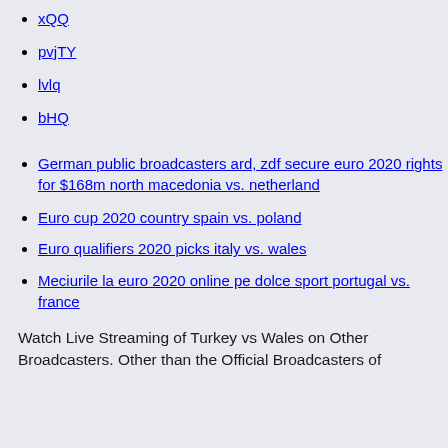xQQ
pvjTY
lvlq
bHQ
German public broadcasters ard, zdf secure euro 2020 rights for $168m north macedonia vs. netherland
Euro cup 2020 country spain vs. poland
Euro qualifiers 2020 picks italy vs. wales
Meciurile la euro 2020 online pe dolce sport portugal vs. france
Watch Live Streaming of Turkey vs Wales on Other Broadcasters. Other than the Official Broadcasters of